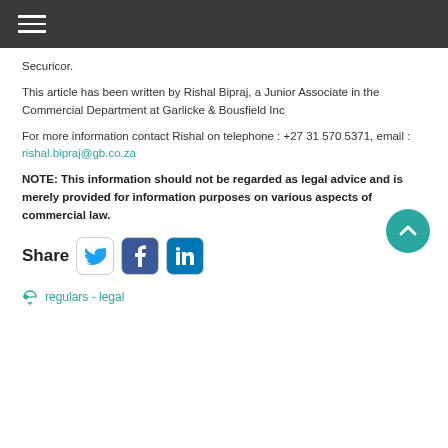Securicor.
This article has been written by Rishal Bipraj, a Junior Associate in the Commercial Department at Garlicke & Bousfield Inc
For more information contact Rishal on telephone : +27 31 570 5371, email : rishal.bipraj@gb.co.za
NOTE: This information should not be regarded as legal advice and is merely provided for information purposes on various aspects of commercial law.
[Figure (infographic): Share row with Twitter, Facebook, and LinkedIn icons, and a back-to-top teal circular button]
regulars - legal